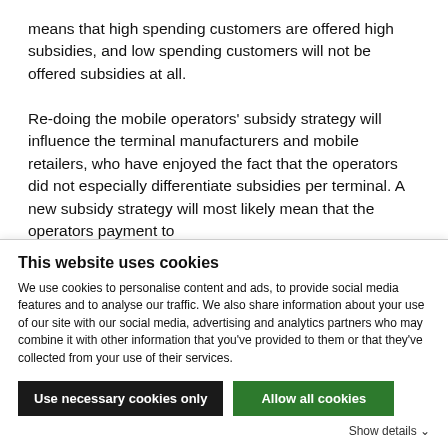means that high spending customers are offered high subsidies, and low spending customers will not be offered subsidies at all.

Re-doing the mobile operators' subsidy strategy will influence the terminal manufacturers and mobile retailers, who have enjoyed the fact that the operators did not especially differentiate subsidies per terminal. A new subsidy strategy will most likely mean that the operators payment to terminal manufacturers and mobile retailers will be
This website uses cookies
We use cookies to personalise content and ads, to provide social media features and to analyse our traffic. We also share information about your use of our site with our social media, advertising and analytics partners who may combine it with other information that you've provided to them or that they've collected from your use of their services.
Use necessary cookies only
Allow all cookies
Show details